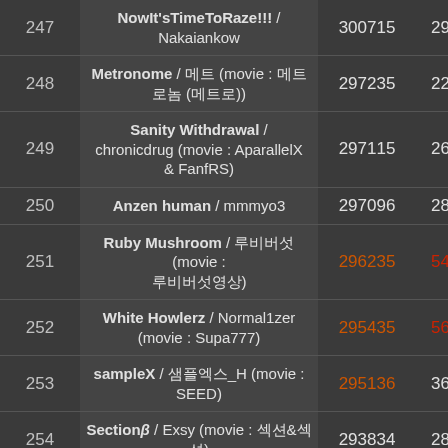| Rank | Name / User | Score | % |
| --- | --- | --- | --- |
| 247 | NowIt'sTimeToRaze!!! / Nakaiankow | 300715 | 29% |
| 248 | Metronome / 메트 (movie : 메트로놈 (메트로)) | 297235 | 22% |
| 249 | Sanity Withdrawal / chronicdrug (movie : AparallelX & FanfRS) | 297115 | 26% |
| 250 | Anzen human / mmmyo3 | 297096 | 28% |
| 251 | Ruby Mushroom / 루비버섯 (movie : 루비버섯영상) | 296235 | 54% |
| 252 | White Howlerz / Normal1zer (movie : Supa777) | 295435 | 56% |
| 253 | sampleX / 샘플엑스_H (movie : SEED) | 295136 | 36% |
| 254 | Sectionβ / Exsy (movie : 섹션&섹션) | 293834 | 28% |